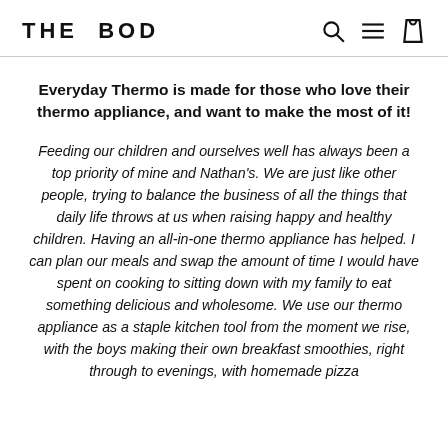THE BOD
Everyday Thermo is made for those who love their thermo appliance, and want to make the most of it!
Feeding our children and ourselves well has always been a top priority of mine and Nathan's. We are just like other people, trying to balance the business of all the things that daily life throws at us when raising happy and healthy children. Having an all-in-one thermo appliance has helped. I can plan our meals and swap the amount of time I would have spent on cooking to sitting down with my family to eat something delicious and wholesome. We use our thermo appliance as a staple kitchen tool from the moment we rise, with the boys making their own breakfast smoothies, right through to evenings, with homemade pizza